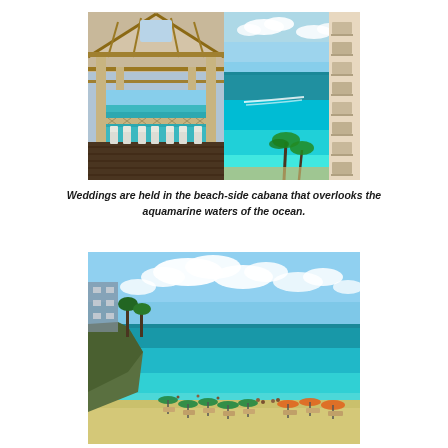[Figure (photo): Two side-by-side photos: left shows interior of a beach-side cabana pavilion with wooden roof structure and white chairs arranged in rows leading to an ocean view; right shows an aerial/elevated view of turquoise ocean water with a boat wake, palm trees, and a resort building facade.]
Weddings are held in the beach-side cabana that overlooks the aquamarine waters of the ocean.
[Figure (photo): Wide panoramic beach scene showing a sandy beach with beach chairs, colorful umbrellas (green and orange), people on the beach, turquoise ocean water, and blue sky with white clouds. Resort buildings and palm trees visible on the left side.]